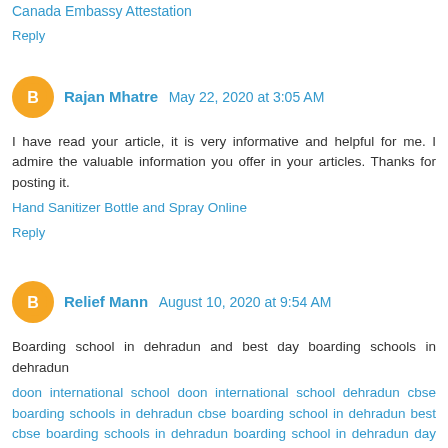Canada Embassy Attestation
Reply
Rajan Mhatre  May 22, 2020 at 3:05 AM
I have read your article, it is very informative and helpful for me. I admire the valuable information you offer in your articles. Thanks for posting it.
Hand Sanitizer Bottle and Spray Online
Reply
Relief Mann  August 10, 2020 at 9:54 AM
Boarding school in dehradun and best day boarding schools in dehradun
doon international school doon international school dehradun cbse boarding schools in dehradun cbse boarding school in dehradun best cbse boarding schools in dehradun boarding school in dehradun day boarding schools in dehradun top boarding schools in dehradun doon school dehradun schools in dehradun dehradun